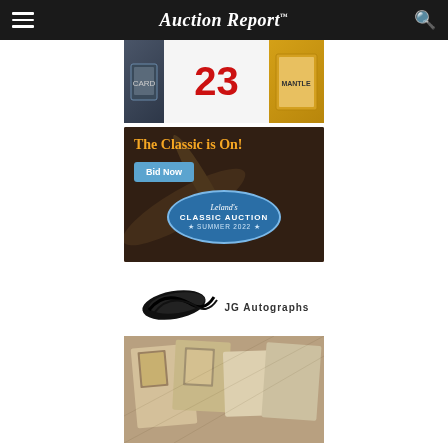Auction Report
[Figure (photo): Sports memorabilia advertisement showing a jersey with number 23 and trading cards]
[Figure (photo): Lelands Classic Auction Summer 2022 advertisement. Text reads 'The Classic is On!' with a 'Bid Now' button and the Lelands Classic Auction Summer 2022 oval logo over a baseball bat background.]
[Figure (logo): JG Autographs advertisement showing the JG Autographs logo above a photo of historical autographs, letters, and memorabilia.]